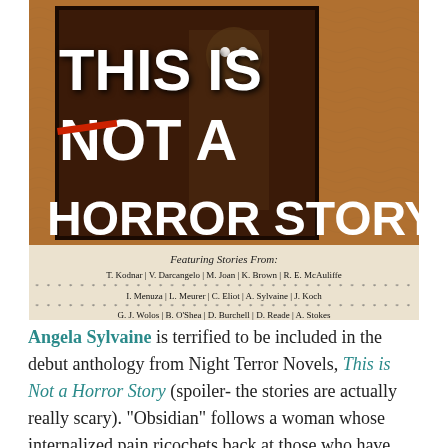[Figure (photo): Book cover of 'This is Not a Horror Story' anthology from Night Terror Novels, showing horror-themed artwork with dark illustrated figures. Bottom section lists contributing authors: T. Kodnar, V. Darcangelo, M. Joan, K. Brown, R. E. McAuliffe, I. Menuza, L. Meurer, C. Eliot, A. Sylvaine, J. Koch, G. J. Wolos, B. O'Shea, D. Burchell, D. Reade, A. Stokes.]
Angela Sylvaine is terrified to be included in the debut anthology from Night Terror Novels, This is Not a Horror Story (spoiler- the stories are actually really scary). "Obsidian" follows a woman whose internalized pain ricochets back at those who have harmed her.